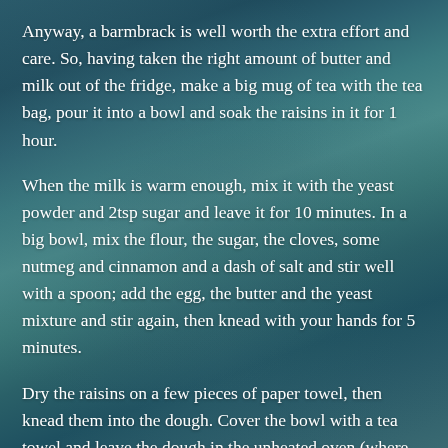Anyway, a barmbrack is well worth the extra effort and care. So, having taken the right amount of butter and milk out of the fridge, make a big mug of tea with the tea bag, pour it into a bowl and soak the raisins in it for 1 hour.
When the milk is warm enough, mix it with the yeast powder and 2tsp sugar and leave it for 10 minutes. In a big bowl, mix the flour, the sugar, the cloves, some nutmeg and cinnamon and a dash of salt and stir well with a spoon; add the egg, the butter and the yeast mixture and stir again, then knead with your hands for 5 minutes.
Dry the raisins on a few pieces of paper towel, then knead them into the dough. Cover the bowl with a tea towel and leave the dough in the unheated oven (where no sudden draught can harm it) for 45 minutes to rise. Then, put it into a lubricated baking tin and bake it for 35-40 minutes at 180°C. Your barmbrack should rise nicely, and your